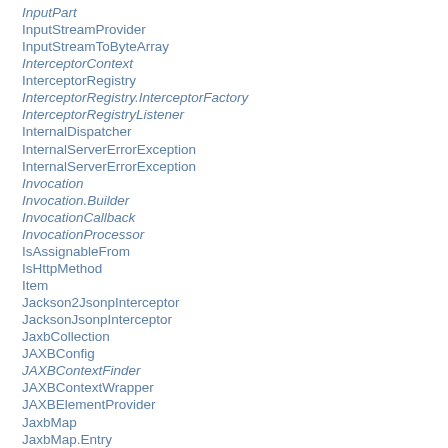InputPart
InputStreamProvider
InputStreamToByteArray
InterceptorContext
InterceptorRegistry
InterceptorRegistry.InterceptorFactory
InterceptorRegistryListener
InternalDispatcher
InternalServerErrorException
InternalServerErrorException
Invocation
Invocation.Builder
InvocationCallback
InvocationProcessor
IsAssignableFrom
IsHttpMethod
Item
Jackson2JsonpInterceptor
JacksonJsonpInterceptor
JaxbCollection
JAXBConfig
JAXBContextFinder
JAXBContextWrapper
JAXBElementProvider
JaxbMap
JaxbMap.Entry
JAXBMarshalException
JAXBUnmarshalException
JAXBXmlRootElementProvider
JAXBXmlSeeAlsoProvider
JAXBXmlTypeProvider
JaxrsAnnotatedType